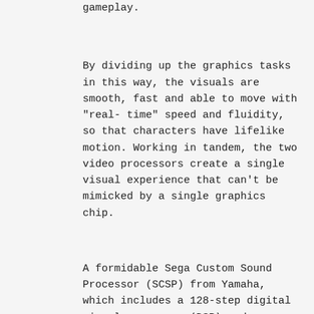gameplay.
By dividing up the graphics tasks in this way, the visuals are smooth, fast and able to move with "real-time" speed and fluidity, so that characters have lifelike motion. Working in tandem, the two video processors create a single visual experience that can't be mimicked by a single graphics chip.
A formidable Sega Custom Sound Processor (SCSP) from Yamaha, which includes a 128-step digital signal processor (DSP) and provides up to 32 voices and CD-quality audio. The audio subsystem also includes a 68EC000 chip that allows programmers to create optional effects and